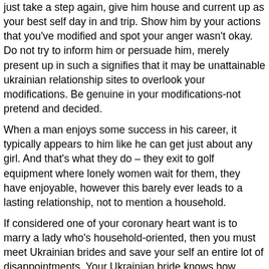just take a step again, give him house and current up as your best self day in and trip. Show him by your actions that you've modified and spot your anger wasn't okay. Do not try to inform him or persuade him, merely present up in such a signifies that it may be unattainable ukrainian relationship sites to overlook your modifications. Be genuine in your modifications-not pretend and decided.
When a man enjoys some success in his career, it typically appears to him like he can get just about any girl. And that's what they do – they exit to golf equipment where lonely women wait for them, they have enjoyable, however this barely ever leads to a lasting relationship, not to mention a household.
If considered one of your coronary heart want is to marry a lady who's household-oriented, then you must meet Ukrainian brides and save your self an entire lot of disappointments. Your Ukrainian bride knows how essential and wonderful it is to raise wholesome children in an excellent residence. Remember she was raised this manner, you shouldn't count on her to be any different.
This is a time period to describe women who are looking to go away their country of origin for a new life in another country. As